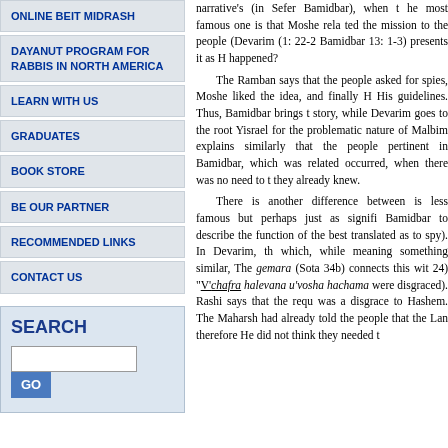ONLINE BEIT MIDRASH
DAYANUT PROGRAM FOR RABBIS IN NORTH AMERICA
LEARN WITH US
GRADUATES
BOOK STORE
BE OUR PARTNER
RECOMMENDED LINKS
CONTACT US
SEARCH
narrative's (in Sefer Bamidbar), when the most famous one is that Moshe related the mission to the people (Devarim (1: 22-2... Bamidbar 13: 1-3) presents it as H... happened?

The Ramban says that the people asked for spies, Moshe liked the idea, and finally H... His guidelines. Thus, Bamidbar brings the story, while Devarim goes to the root... Yisrael for the problematic nature of... Malbim explains similarly that the people... pertinent in Bamidbar, which was related... occurred, when there was no need to t... they already knew.

There is another difference between... is less famous but perhaps just as signifi... Bamidbar to describe the function of the s... best translated as to spy). In Devarim, th... which, while meaning something similar,... The gemara (Sota 34b) connects this wit... 24) "V'chafra halevana u'vosha hachama... were disgraced). Rashi says that the requ... was a disgrace to Hashem. The Maharsh... had already told the people that the Lan... therefore He did not think they needed t...